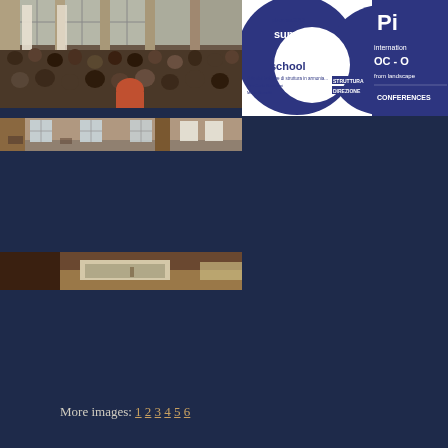[Figure (photo): Audience of students sitting in a hall during a lecture or conference, with large windows in the background]
[Figure (photo): Promotional poster for a summer school event, featuring large blue circles with text including 'summer school', 'Pi', 'international', 'OC-O', 'from landscape', 'CONFERENCES']
[Figure (photo): Hallway or room interior with windows and posters on walls]
[Figure (photo): Partial view of a presentation or desk area]
More images: 1 2 3 4 5 6